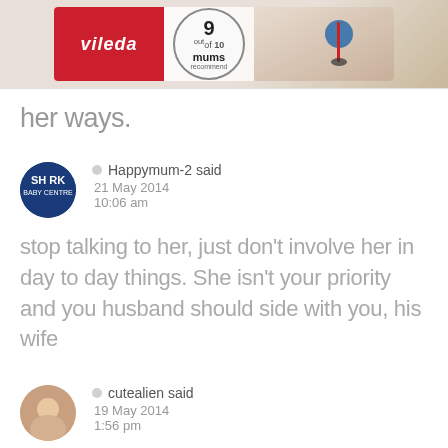[Figure (advertisement): Vileda brand advertisement banner showing the Vileda logo in red, a '9 out of 10 mums recommend' badge, and a Vileda mop product on a wooden floor background]
her ways.
Happymum-2 said
21 May 2014
10:06 am
stop talking to her, just don't involve her in day to day things. She isn't your priority and you husband should side with you, his wife
cutealien said
19 May 2014
1:56 pm